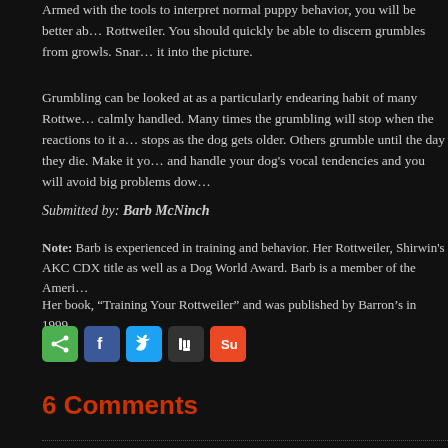Armed with the tools to interpret normal puppy behavior, you will be better able to understand your Rottweiler. You should quickly be able to discern grumbles from growls. Snarls bring it into the picture.
Grumbling can be looked at as a particularly endearing habit of many Rottweilers when calmly handled. Many times the grumbling will stop when the reactions to it are calm. It stops as the dog gets older. Others grumble until the day they die. Make it your business to understand and handle your dog's vocal tendencies and you will avoid big problems down the road.
Submitted by: Barb McNinch
Note: Barb is experienced in training and behavior. Her Rottweiler, Shirwin's earned an AKC CDX title as well as a Dog World Award. Barb is a member of the American Rottweiler Club.
Her book, “Training Your Rottweiler” and was published by Barron’s in 1999.
[Figure (other): Row of social sharing icon buttons: share (green), Facebook (blue), Twitter (light blue), Digg (dark gray), StumbleUpon (red-orange)]
6 Comments